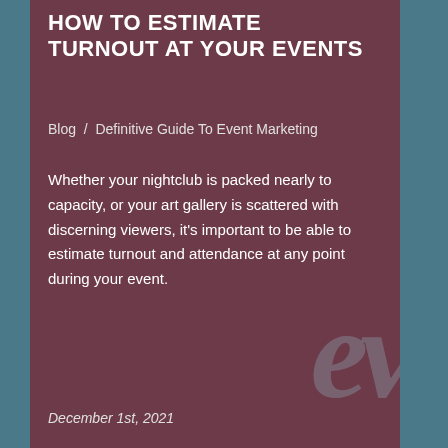HOW TO ESTIMATE TURNOUT AT YOUR EVENTS
Blog / Definitive Guide To Event Marketing
Whether your nightclub is packed nearly to capacity, or your art gallery is scattered with discerning viewers, it’s important to be able to estimate turnout and attendance at any point during your event.
December 1st, 2021